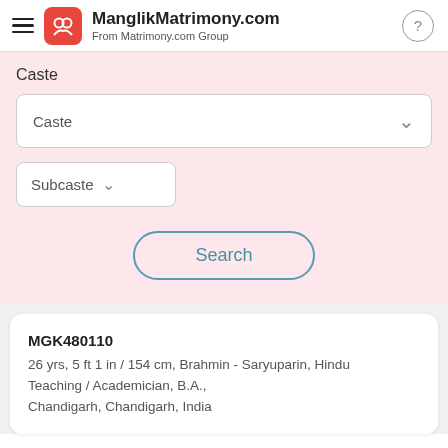ManglikMatrimony.com
From Matrimony.com Group
Caste
Caste
Subcaste
Search
MGK480110
26 yrs, 5 ft 1 in / 154 cm, Brahmin - Saryuparin, Hindu
Teaching / Academician, B.A.,
Chandigarh, Chandigarh, India